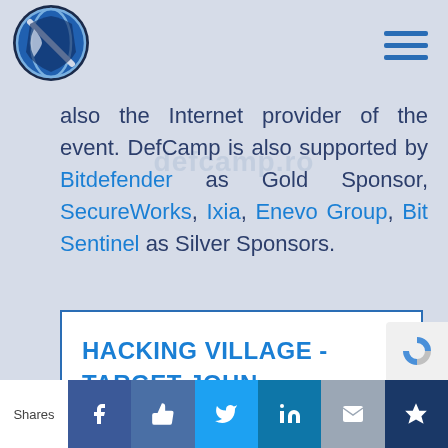[Figure (logo): DefCamp circular logo with a stylized globe/shield icon in blue and black]
[Figure (other): Hamburger menu icon with three horizontal blue lines]
also the Internet provider of the event. DefCamp is also supported by Bitdefender as Gold Sponsor, SecureWorks, Ixia, Enevo Group, Bit Sentinel as Silver Sponsors.
HACKING VILLAGE - TARGET JOHN
Shares | Facebook | Like | Twitter | LinkedIn | Email | Crown